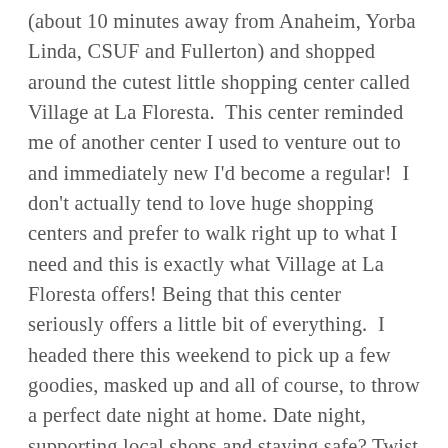(about 10 minutes away from Anaheim, Yorba Linda, CSUF and Fullerton) and shopped around the cutest little shopping center called Village at La Floresta.  This center reminded me of another center I used to venture out to and immediately new I'd become a regular!  I don't actually tend to love huge shopping centers and prefer to walk right up to what I need and this is exactly what Village at La Floresta offers! Being that this center seriously offers a little bit of everything.  I headed there this weekend to pick up a few goodies, masked up and all of course, to throw a perfect date night at home. Date night, supporting local shops and staying safe? Twist my arm for a good time! Here's how you can throw your own date night at home: